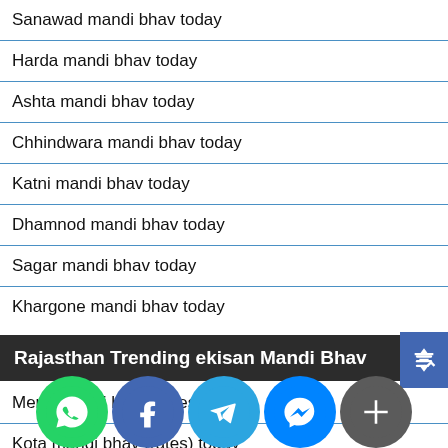Sanawad mandi bhav today
Harda mandi bhav today
Ashta mandi bhav today
Chhindwara mandi bhav today
Katni mandi bhav today
Dhamnod mandi bhav today
Sagar mandi bhav today
Khargone mandi bhav today
Rajasthan Trending ekisan Mandi Bhav
Merta mandi bhav (rates) today
Kota mandi bhav (rates) today
Sumerpur mandi bhav (rates) today
Nimbahera mandi bhav (rates) today